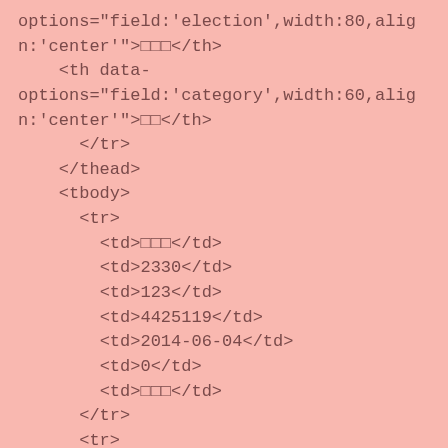options="field:'election',width:80,align:'center'">□□□</th>
    <th data-
options="field:'category',width:60,align:'center'">□□</th>
      </tr>
    </thead>
    <tbody>
      <tr>
        <td>□□□</td>
        <td>2330</td>
        <td>123</td>
        <td>4425119</td>
        <td>2014-06-04</td>
        <td>0</td>
        <td>□□□</td>
      </tr>
      <tr>
        <td>□□□</td>
        <td>2412</td>
        <td>96.4</td>
        <td>5249</td>
        <td>2014-06-15</td>
        <td>0</td>